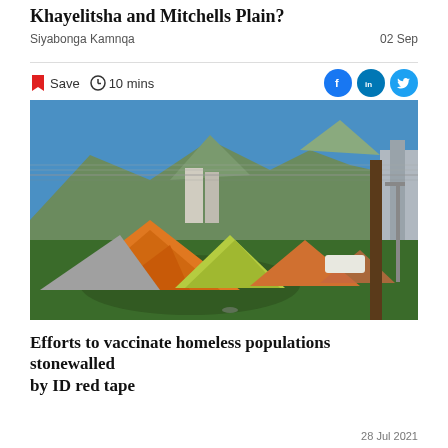Khayelitsha and Mitchells Plain?
Siyabonga Kamnqa
02 Sep
Save  10 mins
[Figure (photo): Orange and yellow tents pitched on grass in front of a chain-link fence with Cape Town mountain backdrop and city buildings, under a clear blue sky.]
Efforts to vaccinate homeless populations stonewalled by ID red tape
28 Jul 2021